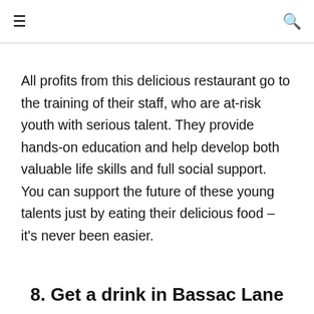≡  🔍
All profits from this delicious restaurant go to the training of their staff, who are at-risk youth with serious talent. They provide hands-on education and help develop both valuable life skills and full social support. You can support the future of these young talents just by eating their delicious food – it's never been easier.
8. Get a drink in Bassac Lane